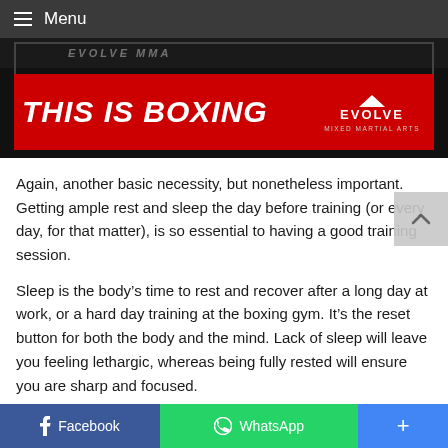Menu
[Figure (illustration): Banner image with red background showing 'THIS IS BOXING' text in bold white italic font, with Evolve Mixed Martial Arts logo on the right]
Again, another basic necessity, but nonetheless important. Getting ample rest and sleep the day before training (or every day, for that matter), is so essential to having a good training session.
Sleep is the body's time to rest and recover after a long day at work, or a hard day training at the boxing gym. It's the reset button for both the body and the mind. Lack of sleep will leave you feeling lethargic, whereas being fully rested will ensure you are sharp and focused.
Facebook  WhatsApp  +